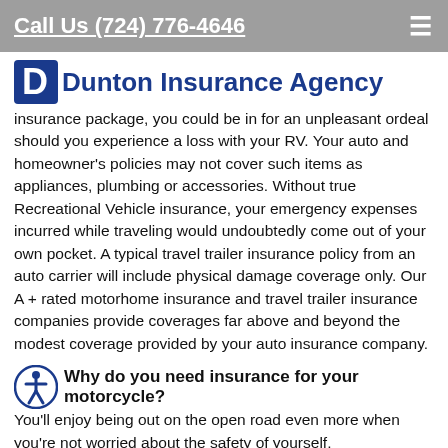Call Us (724) 776-4646
[Figure (logo): Dunton Insurance Agency logo with blue D shield and blue text]
insurance package, you could be in for an unpleasant ordeal should you experience a loss with your RV. Your auto and homeowner's policies may not cover such items as appliances, plumbing or accessories. Without true Recreational Vehicle insurance, your emergency expenses incurred while traveling would undoubtedly come out of your own pocket. A typical travel trailer insurance policy from an auto carrier will include physical damage coverage only. Our A + rated motorhome insurance and travel trailer insurance companies provide coverages far above and beyond the modest coverage provided by your auto insurance company.
Why do you need insurance for your motorcycle?
You'll enjoy being out on the open road even more when you're not worried about the safety of yourself,